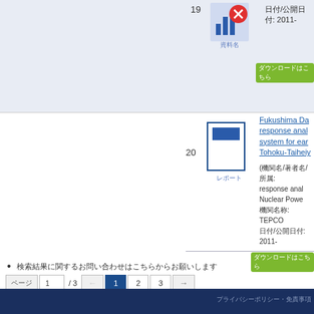19
[Figure (illustration): Document thumbnail icon item 19 with bar chart and circular badge overlay. Label below reads in Japanese.]
日付/公開日付: 2011-
ダウンロードはこちら
Fukushima Da... response anal... system for ear... Tohoku-Taiheiy...
20
[Figure (illustration): Document thumbnail icon item 20 - white page with blue header bar, blue border. Label below reads in Japanese.]
(機関名/著者名/所属: response anal... Nuclear Powe... 機関名称: TEPCO 日付/公開日付: 2011-
ダウンロードはこちら
検索結果に関するお問い合わせはこちらからお願いします
ページ 1 / 3  ← 1 2 3 →
プライバシーポリシー・免責事項